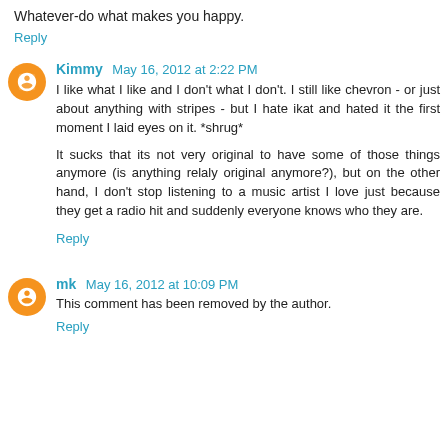Whatever-do what makes you happy.
Reply
Kimmy May 16, 2012 at 2:22 PM
I like what I like and I don't what I don't. I still like chevron - or just about anything with stripes - but I hate ikat and hated it the first moment I laid eyes on it. *shrug*

It sucks that its not very original to have some of those things anymore (is anything relaly original anymore?), but on the other hand, I don't stop listening to a music artist I love just because they get a radio hit and suddenly everyone knows who they are.
Reply
mk May 16, 2012 at 10:09 PM
This comment has been removed by the author.
Reply